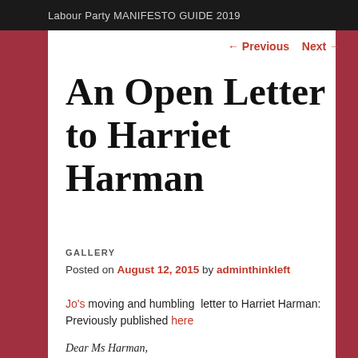Labour Party MANIFESTO GUIDE 2019
← Previous   Next →
An Open Letter to Harriet Harman
GALLERY
Posted on August 12, 2015 by adminthinkleft
Jo's moving and humbling  letter to Harriet Harman: Previously published here
Dear Ms Harman,